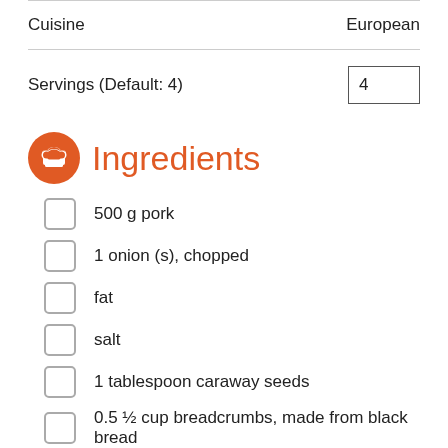| Cuisine | European |
| Servings (Default: 4) | 4 |
Ingredients
500 g pork
1 onion (s), chopped
fat
salt
1 tablespoon caraway seeds
0.5 ½ cup breadcrumbs, made from black bread